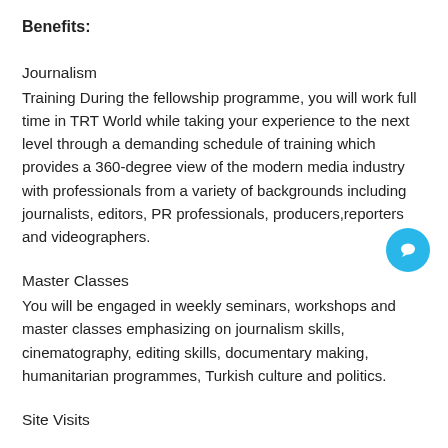Benefits:
Journalism
Training During the fellowship programme, you will work full time in TRT World while taking your experience to the next level through a demanding schedule of training which provides a 360-degree view of the modern media industry with professionals from a variety of backgrounds including journalists, editors, PR professionals, producers,reporters and videographers.
Master Classes
You will be engaged in weekly seminars, workshops and master classes emphasizing on journalism skills, cinematography, editing skills, documentary making, humanitarian programmes, Turkish culture and politics.
Site Visits